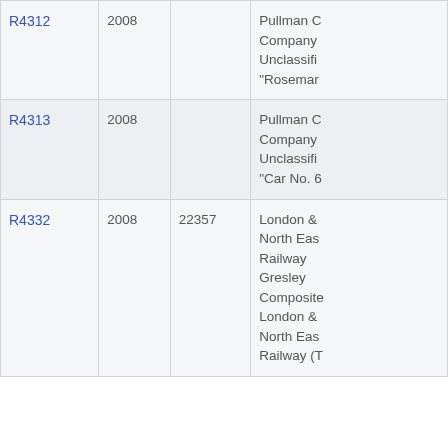| R4312 | 2008 |  | Pullman C Company Unclassifi "Rosemar |
| R4313 | 2008 |  | Pullman C Company Unclassifi "Car No. 6 |
| R4332 | 2008 | 22357 | London & North Eas Railway Gresley Composite London & North Eas Railway (T |